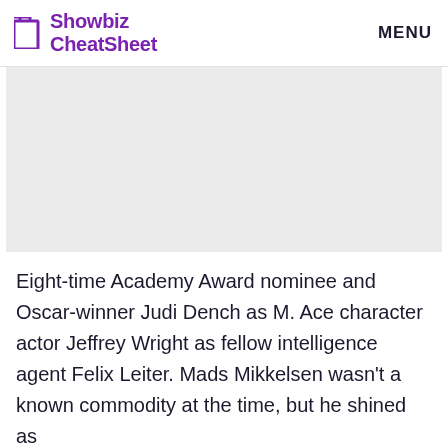Showbiz CheatSheet  MENU
[Figure (other): Gray advertisement placeholder rectangle]
Eight-time Academy Award nominee and Oscar-winner Judi Dench as M. Ace character actor Jeffrey Wright as fellow intelligence agent Felix Leiter. Mads Mikkelsen wasn't a known commodity at the time, but he shined as